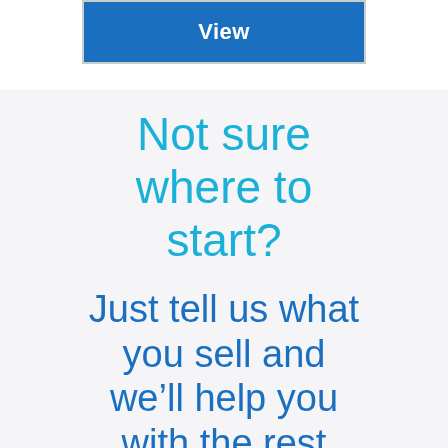[Figure (screenshot): A blue button labeled 'View' inside a light grey bordered rectangle, on a white background.]
Not sure where to start?
Just tell us what you sell and we’ll help you with the rest